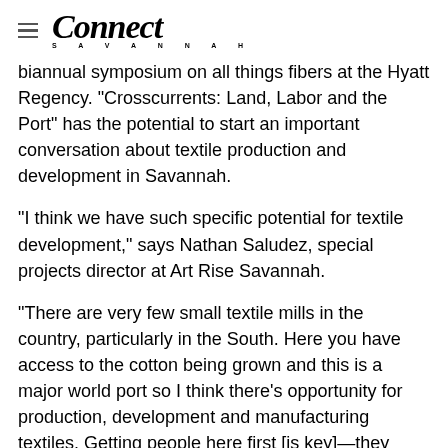Connect Savannah
biannual symposium on all things fibers at the Hyatt Regency. "Crosscurrents: Land, Labor and the Port" has the potential to start an important conversation about textile production and development in Savannah.
“I think we have such specific potential for textile development,” says Nathan Saludez, special projects director at Art Rise Savannah.
“There are very few small textile mills in the country, particularly in the South. Here you have access to the cotton being grown and this is a major world port so I think there’s opportunity for production, development and manufacturing textiles. Getting people here first [is key]—they have to have that introduction to the city first, but you know everyone who comes here falls in love with it.”